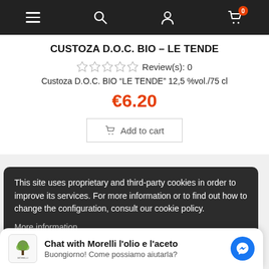Navigation bar with menu, search, account, and cart icons
CUSTOZA D.O.C. BIO – LE TENDE
☆☆☆☆☆ Review(s): 0
Custoza D.O.C. BIO "LE TENDE" 12,5 %vol./75 cl
€6.20
Add to cart
This site uses proprietary and third-party cookies in order to improve its services. For more information or to find out how to change the configuration, consult our cookie policy.
More information
Chat with Morelli l'olio e l'aceto
Buongiorno! Come possiamo aiutarla?